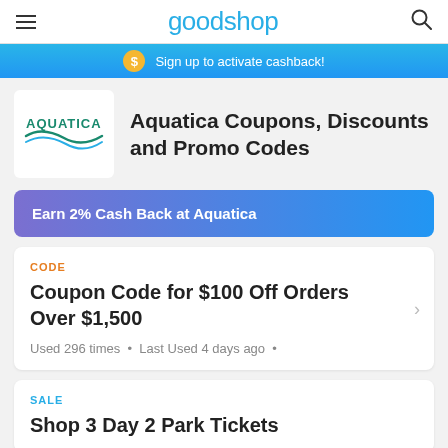goodshop
Sign up to activate cashback!
Aquatica Coupons, Discounts and Promo Codes
Earn 2% Cash Back at Aquatica
CODE
Coupon Code for $100 Off Orders Over $1,500
Used 296 times • Last Used 4 days ago •
SALE
Shop 3 Day 2 Park Tickets